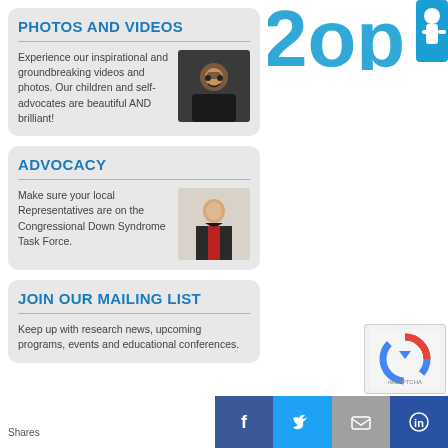PHOTOS AND VIDEOS
Experience our inspirational and groundbreaking videos and photos. Our children and self-advocates are beautiful AND brilliant!
[Figure (photo): Portrait of a smiling young person wearing glasses]
ADVOCACY
Make sure your local Representatives are on the Congressional Down Syndrome Task Force.
[Figure (photo): Man in a suit and red tie speaking at a hearing]
JOIN OUR MAILING LIST
Keep up with research news, upcoming programs, events and educational conferences.
[Figure (logo): Large blue stylized letters partially visible in top right]
[Figure (logo): reCAPTCHA widget]
Shares